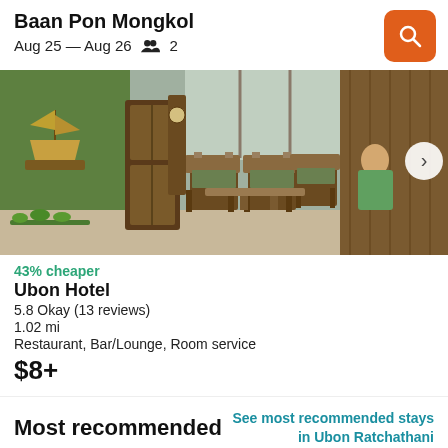Baan Pon Mongkol
Aug 25 — Aug 26  👥 2
[Figure (photo): Hotel lobby interior with wooden furniture, green walls, and a person seated]
43% cheaper
Ubon Hotel
5.8 Okay (13 reviews)
1.02 mi
Restaurant, Bar/Lounge, Room service
$8+
Most recommended
See most recommended stays in Ubon Ratchathani
[Figure (photo): Bottom hotel preview image, partially visible]